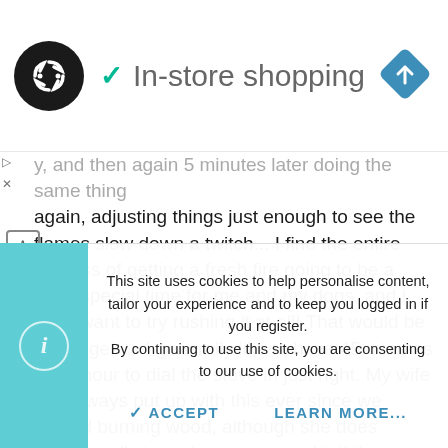[Figure (screenshot): Website header showing a circular dark logo with double arrow icon, a teal checkmark followed by 'In-store shopping' text, and a blue diamond navigation icon on the right.]
y, and then again 5 minutes later doing the same thing again, adjusting things just enough to see the flames slow down a twitch... I find the entire process of getting a fresh fire going to be a quiet special time for me and my dogs, and I don't want to try rushing it at all! That would be sacrilege! ☺ I generally like to have 45 minutes to an hour to dial the stove in just right. My wife has always put up with this ever since we started burning wood, although she does occasionally try to hurry me up a bit if the dinners set to be served. 🙁 But I love her, so I try to be a good hubby and hurry
This site uses cookies to help personalise content, tailor your experience and to keep you logged in if you register.
By continuing to use this site, you are consenting to our use of cookies.
✓ ACCEPT     LEARN MORE...